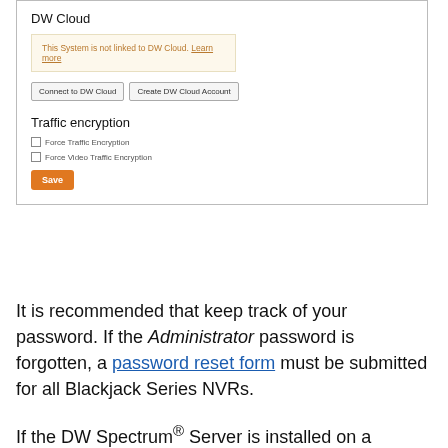[Figure (screenshot): DW Cloud settings panel showing notice box 'This System is not linked to DW Cloud. Learn more', buttons 'Connect to DW Cloud' and 'Create DW Cloud Account', Traffic encryption section with checkboxes for Force Traffic Encryption and Force Video Traffic Encryption, and an orange Save button.]
It is recommended that keep track of your password. If the Administrator password is forgotten, a password reset form must be submitted for all Blackjack Series NVRs.
If the DW Spectrum® Server is installed on a custom